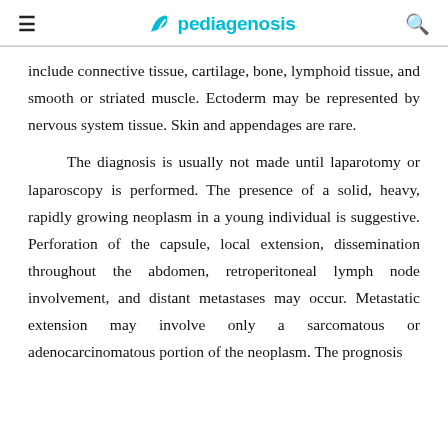pediagenosis
include connective tissue, cartilage, bone, lymphoid tissue, and smooth or striated muscle. Ectoderm may be represented by nervous system tissue. Skin and appendages are rare.
The diagnosis is usually not made until laparotomy or laparoscopy is performed. The presence of a solid, heavy, rapidly growing neoplasm in a young individual is suggestive. Perforation of the capsule, local extension, dissemination throughout the abdomen, retroperitoneal lymph node involvement, and distant metastases may occur. Metastatic extension may involve only a sarcomatous or adenocarcinomatous portion of the neoplasm. The prognosis